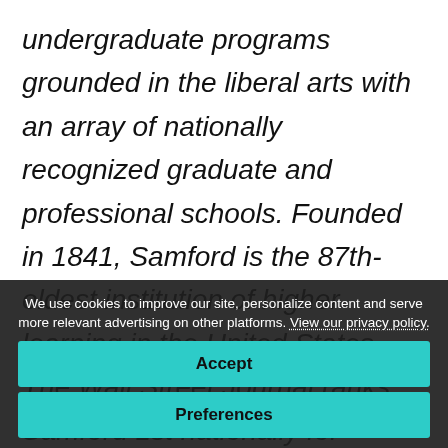undergraduate programs grounded in the liberal arts with an array of nationally recognized graduate and professional schools. Founded in 1841, Samford is the 87th-oldest institution of higher learning in the United States. The Wall Street Journal ranks Samford 1st nationally for student engagement and U.S. News & World Report ranks Samford 37th in the nation for best undergraduate teaching and 97th nationally for best value. Samford enrolls 5,758 students from 48 states and 22 countries in
We use cookies to improve our site, personalize content and serve more relevant advertising on other platforms. View our privacy policy.
Accept
Preferences
nursing, pharmacy and public health. Samford field